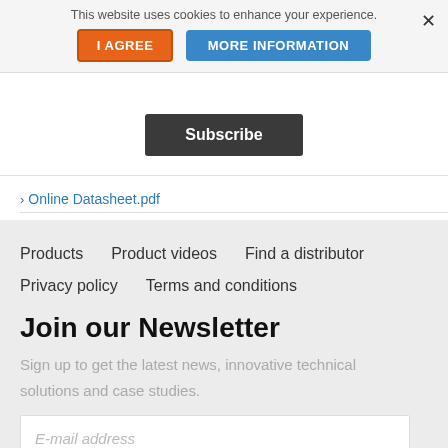This website uses cookies to enhance your experience.
I AGREE
MORE INFORMATION
Subscribe
› Online Datasheet.pdf
Products   Product videos   Find a distributor   Privacy policy   Terms and conditions
Join our Newsletter
Sign up to get the latest news, innovative technical solutions and case studies.
E-mail address